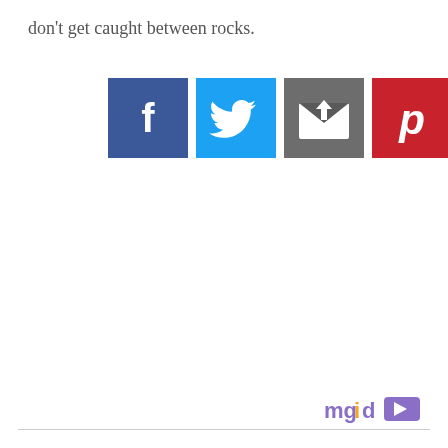don't get caught between rocks.
[Figure (infographic): Row of social media share buttons: Facebook (blue, f), Twitter (light blue, bird), Email (grey, envelope), Pinterest (red, P), Plus/More (salmon, +)]
[Figure (logo): mgid logo with play button icon in bottom right corner]